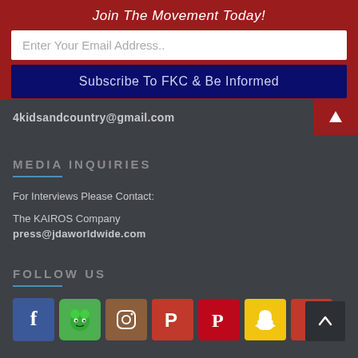Join The Movement Today!
Enter Your Email Address..
Subscribe To FKC & Be Informed
4kidsandcountry@gmail.com
MEDIA INQUIRIES
For Interviews Please Contact:
The KAIROS Company
press@jdaworldwide.com
FOLLOW US
[Figure (other): Social media icons row: Facebook, Frog/Gab, Instagram, Parler, Pinterest, Snapchat, Parler]